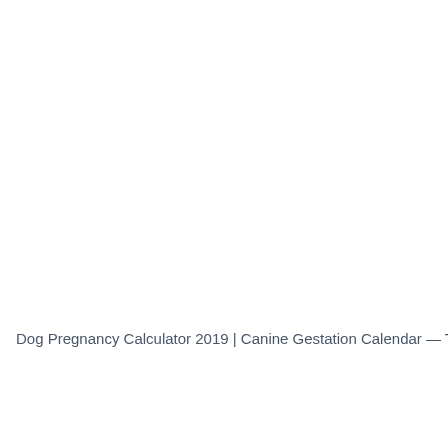Dog Pregnancy Calculator 2019 | Canine Gestation Calendar — The